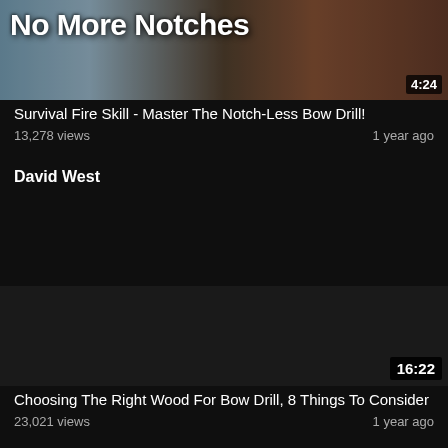[Figure (screenshot): Video thumbnail showing text 'No More Notches' over a dark outdoor/wood background with duration badge 4:24]
Survival Fire Skill - Master The Notch-Less Bow Drill!
13,278 views    1 year ago
David West
[Figure (screenshot): Dark video thumbnail with duration badge 16:22]
Choosing The Right Wood For Bow Drill, 8 Things To Consider
23,021 views    1 year ago